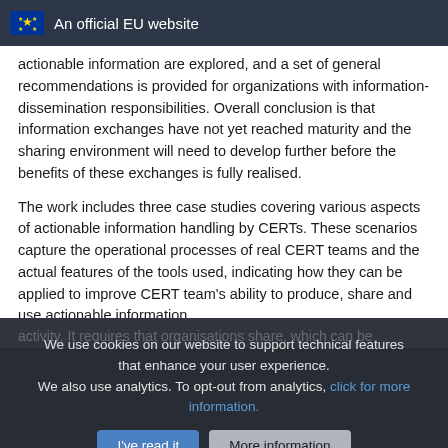An official EU website
actionable information are explored, and a set of general recommendations is provided for organizations with information-dissemination responsibilities. Overall conclusion is that information exchanges have not yet reached maturity and the sharing environment will need to develop further before the benefits of these exchanges is fully realised.
The work includes three case studies covering various aspects of actionable information handling by CERTs. These scenarios capture the operational processes of real CERT teams and the actual features of the tools used, indicating how they can be applied to improve CERT team’s ability to produce, share and use actionable information.
Inventory for information sharing
We use cookies on our website to support technical features that enhance your user experience.
We also use analytics. To opt-out from analytics, click for more information.